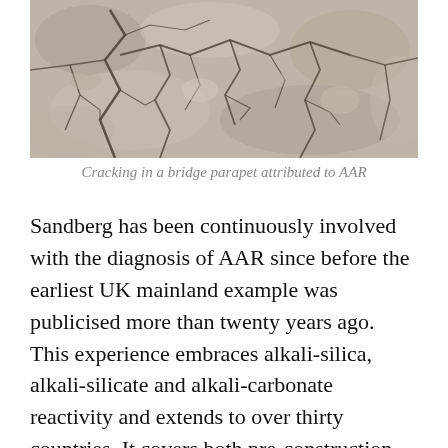[Figure (photo): Close-up photograph of cracked concrete surface on a bridge parapet, showing a network of irregular cracks attributed to Alkali-Aggregate Reaction (AAR).]
Cracking in a bridge parapet attributed to AAR
Sandberg has been continuously involved with the diagnosis of AAR since before the earliest UK mainland example was publicised more than twenty years ago. This experience embraces alkali-silica, alkali-silicate and alkali-carbonate reactivity and extends to over thirty countries. It covers both pre-construction AAR risk assessment of concrete constituents, its